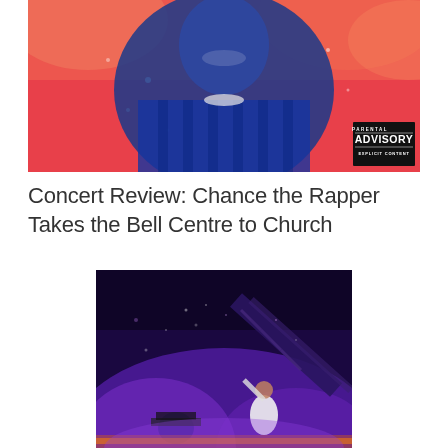[Figure (photo): Album cover style photo of Chance the Rapper with blue lighting on a red/orange background, smiling, wearing a blue patterned jersey. A Parental Advisory Explicit Content label appears in the bottom right.]
Concert Review: Chance the Rapper Takes the Bell Centre to Church
[Figure (photo): Concert photo of a performer on stage with purple/violet stage lighting, confetti or sparks visible, with a large structural truss visible in the background.]